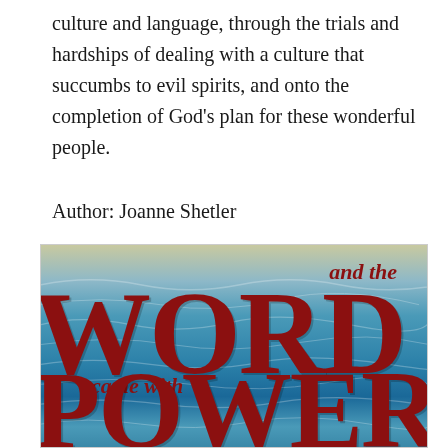culture and language, through the trials and hardships of dealing with a culture that succumbs to evil spirits, and onto the completion of God’s plan for these wonderful people.
Author: Joanne Shetler
[Figure (photo): Book cover of 'and the Word came with Power' showing large red serif text on a blue ocean/wave background. The title words 'and the', 'WORD', 'came with', and 'POWER' are displayed in bold red letters over a textured blue water background.]